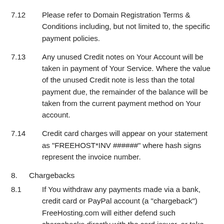7.12  Please refer to Domain Registration Terms & Conditions including, but not limited to, the specific payment policies.
7.13  Any unused Credit notes on Your Account will be taken in payment of Your Service. Where the value of the unused Credit note is less than the total payment due, the remainder of the balance will be taken from the current payment method on Your account.
7.14  Credit card charges will appear on your statement as "FREEHOST*INV ######" where hash signs represent the invoice number.
8.  Chargebacks
8.1  If You withdraw any payments made via a bank, credit card or PayPal account (a "chargeback") FreeHosting.com will either defend such chargebacks directly with the card issuer, or take appropriate steps to recover the original monies from You in addition to an administration fee for each chargeback raised.